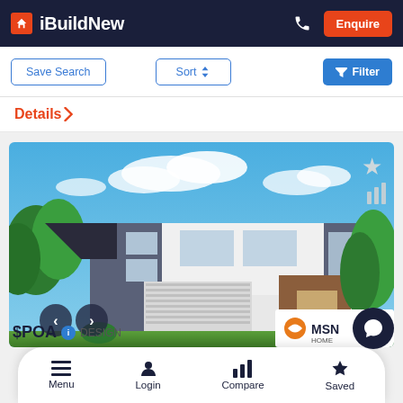iBuildNew
Save Search | Sort | Filter
Details >
[Figure (photo): Exterior render of a two-storey modern house with dark roof, white and grey facade, wooden feature entry, double garage, surrounded by trees under a blue sky with clouds.]
$POA DESIGN
Menu | Login | Compare | Saved